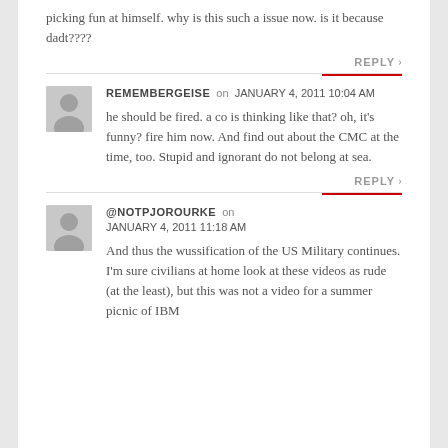picking fun at himself. why is this such a issue now. is it because dadt????
REPLY
REMEMBERGEISE on JANUARY 4, 2011 10:04 AM
he should be fired. a co is thinking like that? oh, it's funny? fire him now. And find out about the CMC at the time, too. Stupid and ignorant do not belong at sea.
REPLY
@NOTPJOROURKE on JANUARY 4, 2011 11:18 AM
And thus the wussification of the US Military continues. I'm sure civilians at home look at these videos as rude (at the least), but this was not a video for a summer picnic of IBM